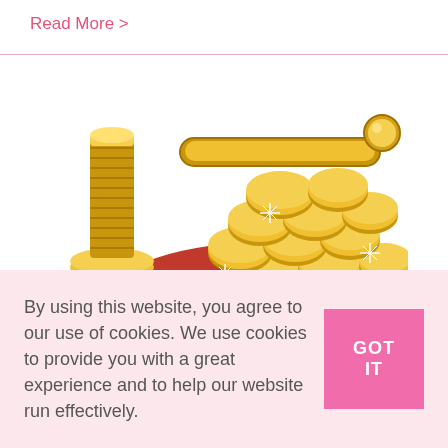Read More >
[Figure (illustration): Illustration of a red coin purse overflowing with gold coins, with stacks of gold coins beside it and sparkle effects.]
By using this website, you agree to our use of cookies. We use cookies to provide you with a great experience and to help our website run effectively.
GOT IT